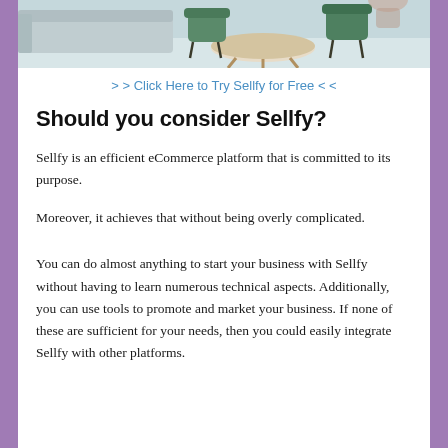[Figure (photo): Interior photo showing a light gray sofa, a round wooden coffee table, and green accent chairs on a light carpet. The image is cropped at the top.]
> > Click Here to Try Sellfy for Free < <
Should you consider Sellfy?
Sellfy is an efficient eCommerce platform that is committed to its purpose.
Moreover, it achieves that without being overly complicated.
You can do almost anything to start your business with Sellfy without having to learn numerous technical aspects. Additionally, you can use tools to promote and market your business. If none of these are sufficient for your needs, then you could easily integrate Sellfy with other platforms.